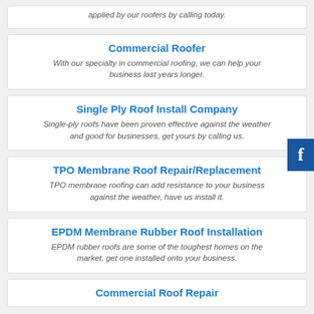applied by our roofers by calling today.
Commercial Roofer
With our specialty in commercial roofing, we can help your business last years longer.
Single Ply Roof Install Company
Single-ply roofs have been proven effective against the weather and good for businesses, get yours by calling us.
TPO Membrane Roof Repair/Replacement
TPO membrane roofing can add resistance to your business against the weather, have us install it.
EPDM Membrane Rubber Roof Installation
EPDM rubber roofs are some of the toughest homes on the market, get one installed onto your business.
Commercial Roof Repair